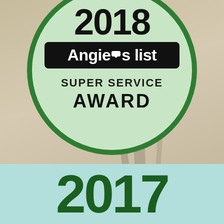[Figure (logo): Angie's List Super Service Award 2018 badge — a circular green-bordered badge with '2018' at top, black banner with 'Angie's list' text, 'SUPER SERVICE' and 'AWARD' text inside the circle]
2017